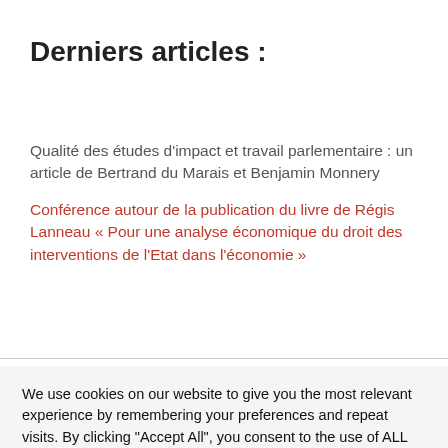Derniers articles :
Qualité des études d'impact et travail parlementaire : un article de Bertrand du Marais et Benjamin Monnery
Conférence autour de la publication du livre de Régis Lanneau « Pour une analyse économique du droit des interventions de l'Etat dans l'économie »
We use cookies on our website to give you the most relevant experience by remembering your preferences and repeat visits. By clicking "Accept All", you consent to the use of ALL the cookies. However, you may visit "Cookie Settings" to provide a controlled consent.